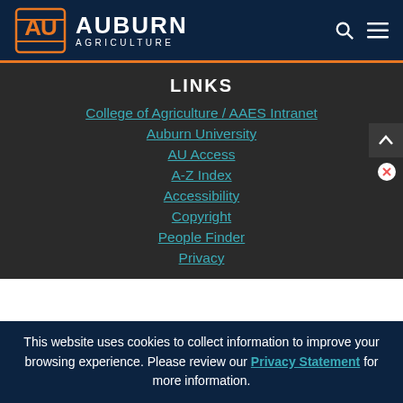Auburn Agriculture
LINKS
College of Agriculture / AAES Intranet
Auburn University
AU Access
A-Z Index
Accessibility
Copyright
People Finder
Privacy
This website uses cookies to collect information to improve your browsing experience. Please review our Privacy Statement for more information.